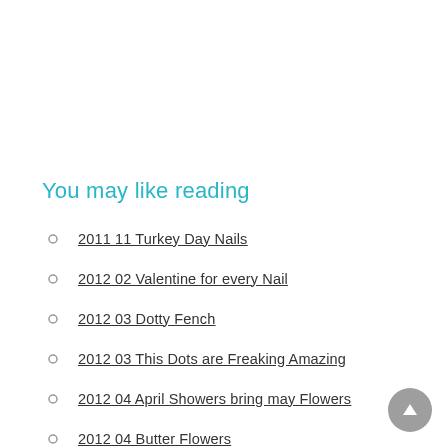You may like reading
2011 11 Turkey Day Nails
2012 02 Valentine for every Nail
2012 03 Dotty Fench
2012 03 This Dots are Freaking Amazing
2012 04 April Showers bring may Flowers
2012 04 Butter Flowers